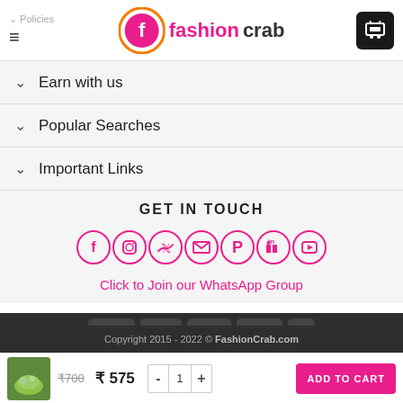fashioncrab — navigation header with logo, hamburger menu, Policies, and cart
Earn with us
Popular Searches
Important Links
GET IN TOUCH
[Figure (infographic): Social media icons row: Facebook, Instagram, Twitter, Email, Pinterest, LinkedIn, YouTube — all in pink circle outlines]
Click to Join our WhatsApp Group
[Figure (infographic): Payment method badges: VISA, MasterCard, G Pay, Paytm, PayPal]
Copyright 2015 - 2022 © FashionCrab.com
₹700  ₹ 575  -  1  +  ADD TO CART